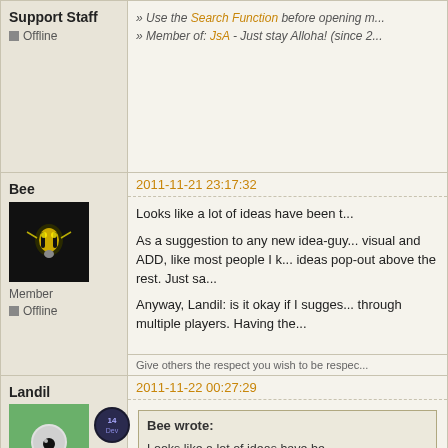Support Staff
Offline
» Use the Search Function before opening new topics.
» Member of: JsA - Just stay Alloha! (since 2...
Bee
2011-11-21 23:17:32
[Figure (photo): Bee user avatar - dark background with glowing yellow bee robot figure]
Member
Offline
Looks like a lot of ideas have been t...
As a suggestion to any new idea-guy... visual and ADD, like most people I k... ideas pop-out above the rest. Just sa...
Anyway, Landil: is it okay if I sugges... through multiple players. Having the...
Give others the respect you wish to be respec...
Landil
2011-11-22 00:27:29
[Figure (photo): Landil user avatar - game character with large round head on grassy background]
[Figure (logo): Dev badge icon - dark circular badge with 'Dev' text]
Developer
Offline
Bee wrote:
Looks like a lot of ideas have be...
As a suggestion to any new idea... ideas. I'm visual and ADD, like m...